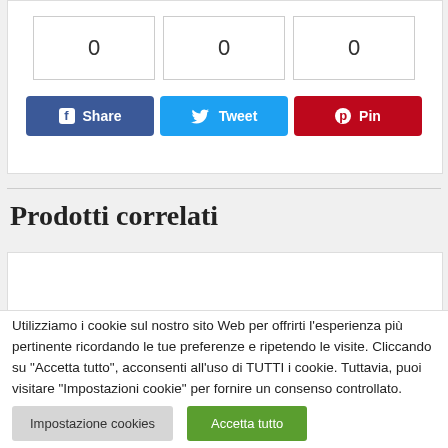[Figure (other): Three share count boxes each showing 0, followed by Facebook Share, Twitter Tweet, and Pinterest Pin social sharing buttons]
Prodotti correlati
[Figure (other): White product card/box for related products section]
Utilizziamo i cookie sul nostro sito Web per offrirti l'esperienza più pertinente ricordando le tue preferenze e ripetendo le visite. Cliccando su "Accetta tutto", acconsenti all'uso di TUTTI i cookie. Tuttavia, puoi visitare "Impostazioni cookie" per fornire un consenso controllato.
Impostazione cookies    Accetta tutto